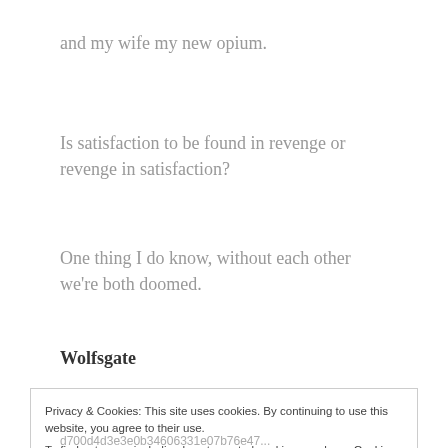and my wife my new opium.
Is satisfaction to be found in revenge or revenge in satisfaction?
One thing I do know, without each other we're both doomed.
Wolfsgate
Privacy & Cookies: This site uses cookies. By continuing to use this website, you agree to their use.
To find out more, including how to control cookies, see here: Cookie Policy
d700d4d3e3e0b34606331e07b76e47...